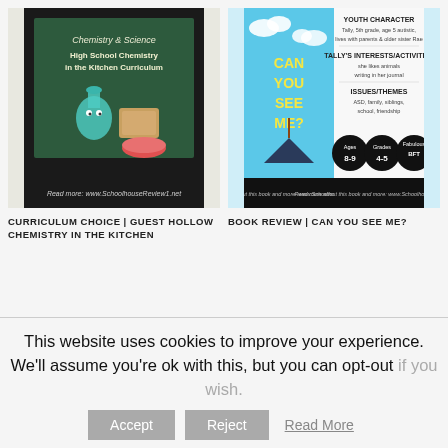[Figure (photo): Book cover for High School Chemistry in the Kitchen Curriculum with cartoon chemistry lab equipment and kitchen items on a dark background]
CURRICULUM CHOICE | GUEST HOLLOW CHEMISTRY IN THE KITCHEN
[Figure (photo): Book review graphic for 'Can You See Me?' showing book cover with blue sky and clouds, and review details including Youth Character, Tally's Interests/Activities, Issues/Themes]
BOOK REVIEW | CAN YOU SEE ME?
This website uses cookies to improve your experience. We'll assume you're ok with this, but you can opt-out if you wish.